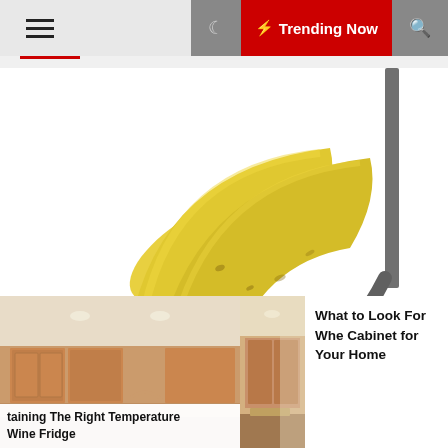☰  ☾  ⚡ Trending Now  🔍
[Figure (photo): Close-up photo of ripe yellow bananas hanging on a metal hook/stand against a white background]
🕐 1 year ago
Fresno, Ca Actual Estate
[Figure (photo): Photo of a kitchen interior with wooden cabinets, recessed lighting, and beige walls]
taining The Right Temperature Wine Fridge
[Figure (photo): Photo of white kitchen cabinets with marble countertop and modern appliances]
What to Look For Whe Cabinet for Your Home